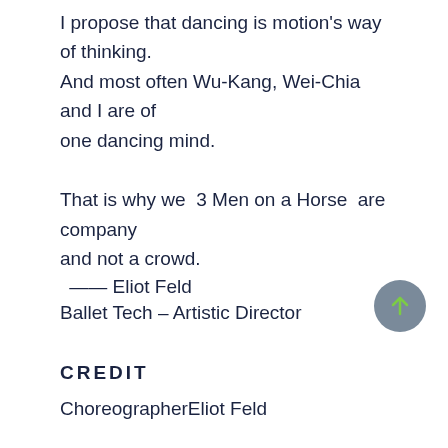I propose that dancing is motion's way of thinking. And most often Wu-Kang, Wei-Chia and I are of one dancing mind.
That is why we 3 Men on a Horse are company and not a crowd.
—— Eliot Feld
Ballet Tech – Artistic Director
CREDIT
Choreographer​Eliot Feld